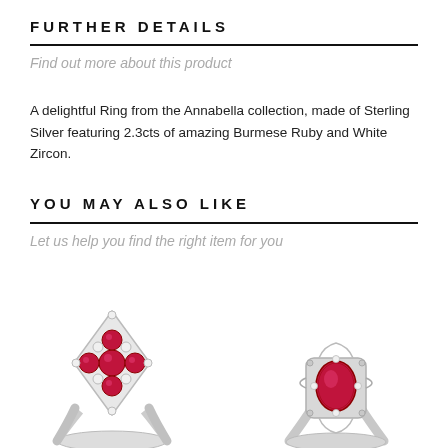FURTHER DETAILS
Find out more about this product
A delightful Ring from the Annabella collection, made of Sterling Silver featuring 2.3cts of amazing Burmese Ruby and White Zircon.
YOU MAY ALSO LIKE
Let us help you find the right item for you
[Figure (photo): Two silver rings with ruby gemstones shown side by side. Left ring features a floral cluster design with multiple round rubies and small white stones. Right ring features a large oval ruby centerstone with decorative silver setting.]